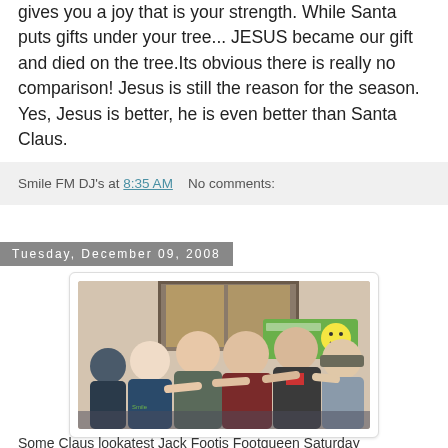gives you a joy that is your strength. While Santa puts gifts under your tree... JESUS became our gift and died on the tree.Its obvious there is really no comparison! Jesus is still the reason for the season. Yes, Jesus is better, he is even better than Santa Claus.
Smile FM DJ's at 8:35 AM   No comments:
Tuesday, December 09, 2008
[Figure (photo): Group photo of five young adults posed together indoors. A woman on the left wearing a Smile FM hoodie, and four men, one in a maroon hoodie, one in a dark jacket. A Smile FM logo sign is visible in the background.]
Some Claus lookatest Jack Footis Footqueen Saturday